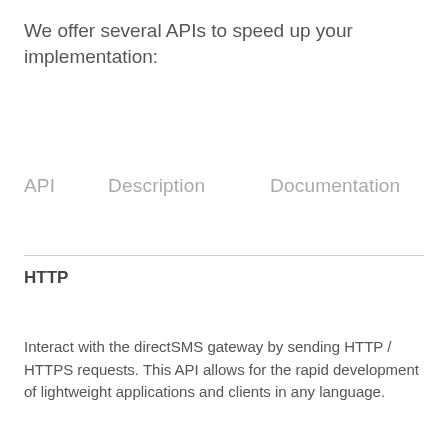We offer several APIs to speed up your implementation:
| API | Description | Documentation |
| --- | --- | --- |
HTTP
Interact with the directSMS gateway by sending HTTP / HTTPS requests. This API allows for the rapid development of lightweight applications and clients in any language.